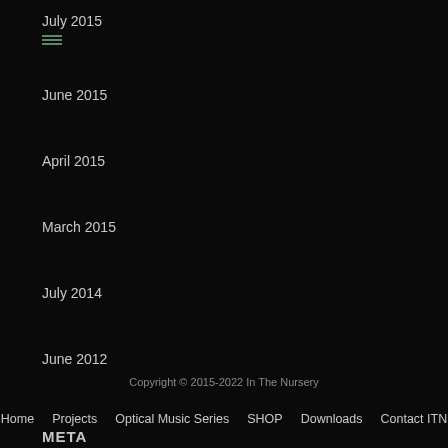July 2015
June 2015
April 2015
March 2015
July 2014
June 2012
META
Log in
Copyright © 2015-2022 In The Nursery
Home   Projects   Optical Music Series   SHOP   Downloads   Contact ITN